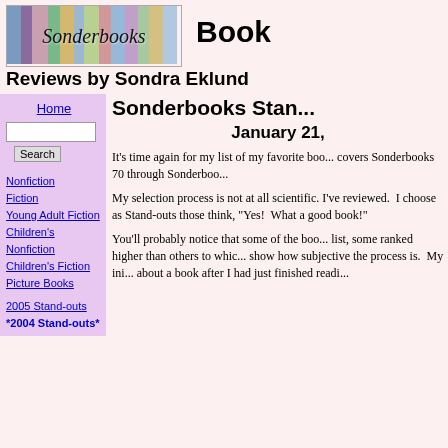[Figure (logo): Sonderbooks logo with colorful book spines in background and cursive 'Sonderbooks' text]
Book
Reviews by Sondra Eklund
Sonderbooks Stan...
January 21,
Home
Nonfiction
Fiction
Young Adult Fiction
Children's Nonfiction
Children's Fiction
Picture Books
2005 Stand-outs
*2004 Stand-outs*
It's time again for my list of my favorite boo... covers Sonderbooks 70 through Sonderboo...
My selection process is not at all scientific. I've reviewed.  I choose as Stand-outs those think, "Yes!  What a good book!"
You'll probably notice that some of the boo... list, some ranked higher than others to whic... show how subjective the process is.  My ini... about a book after I had just finished readi...